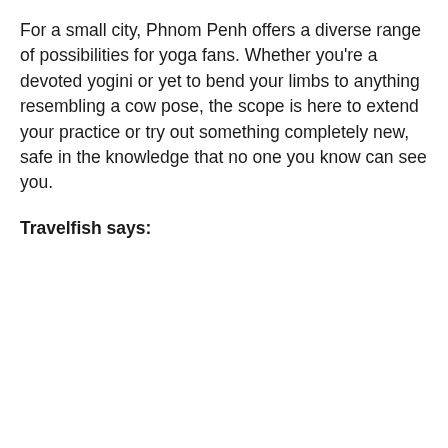For a small city, Phnom Penh offers a diverse range of possibilities for yoga fans. Whether you're a devoted yogini or yet to bend your limbs to anything resembling a cow pose, the scope is here to extend your practice or try out something completely new, safe in the knowledge that no one you know can see you.
Travelfish says: